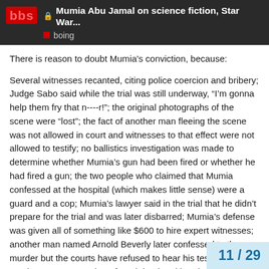Mumia Abu Jamal on science fiction, Star War... | boing
There is reason to doubt Mumia's conviction, because:
Several witnesses recanted, citing police coercion and bribery; Judge Sabo said while the trial was still underway, “I’m gonna help them fry that n----r!”; the original photographs of the scene were “lost”; the fact of another man fleeing the scene was not allowed in court and witnesses to that effect were not allowed to testify; no ballistics investigation was made to determine whether Mumia’s gun had been fired or whether he had fired a gun; the two people who claimed that Mumia confessed at the hospital (which makes little sense) were a guard and a cop; Mumia’s lawyer said in the trial that he didn’t prepare for the trial and was later disbarred; Mumia’s defense was given all of something like $600 to hire expert witnesses; another man named Arnold Beverly later confessed to the murder but the courts have refused to hear his testimony; still another suspect was later found dead and handcuffed after Philadelphia PD’s bombing of MOVE (before Beverly’s confe... other details.
11 / 29